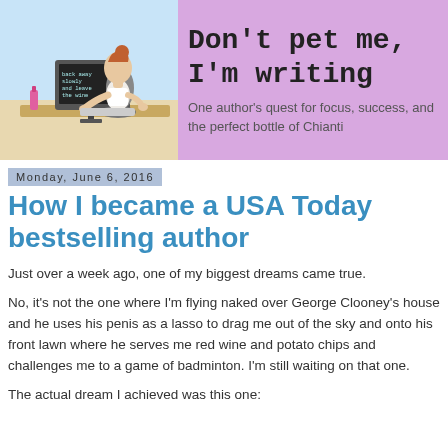[Figure (illustration): Cartoon illustration of a woman with reddish-brown hair in a bun, sitting at a desk working on a computer. The computer screen shows text reading 'back away slowly and leave the wine'. A pink wine bottle is visible on the desk. Background shows a window with blue sky.]
Don't pet me, I'm writing
One author's quest for focus, success, and the perfect bottle of Chianti
Monday, June 6, 2016
How I became a USA Today bestselling author
Just over a week ago, one of my biggest dreams came true.
No, it's not the one where I'm flying naked over George Clooney's house and he uses his penis as a lasso to drag me out of the sky and onto his front lawn where he serves me red wine and potato chips and challenges me to a game of badminton. I'm still waiting on that one.
The actual dream I achieved was this one: